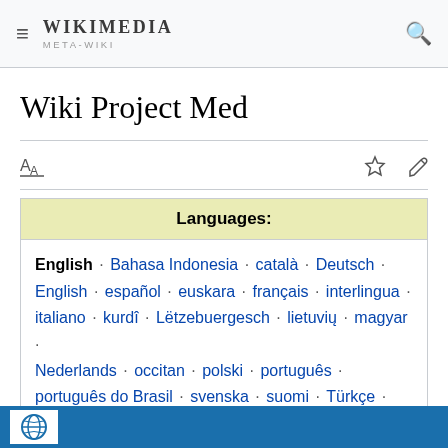WIKIMEDIA META-WIKI
Wiki Project Med
| Languages: |
| --- |
| English · Bahasa Indonesia · català · Deutsch · English · español · euskara · français · interlingua · italiano · kurdî · Lëtzebuergesch · lietuvių · magyar · Nederlands · occitan · polski · português · português do Brasil · svenska · suomi · Türkçe · български · русский · українська · հայերեն · मराठी · বাংলা · తెలుగు · ਪੰਜਾਬੀ · ייִדיש · עברית · العربية · پښتو · فارسی |